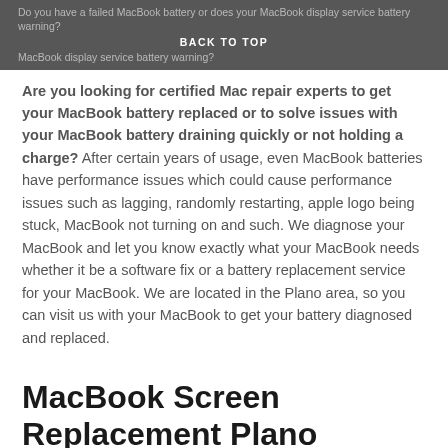Do you have a failed MacBook battery or does your MacBook display service battery warning? Are you looking for certified Mac repair experts to get your MacBook battery replaced or to solve issues with your MacBook battery draining quickly or not holding a charge? BACK TO TOP
Are you looking for certified Mac repair experts to get your MacBook battery replaced or to solve issues with your MacBook battery draining quickly or not holding a charge? After certain years of usage, even MacBook batteries have performance issues which could cause performance issues such as lagging, randomly restarting, apple logo being stuck, MacBook not turning on and such. We diagnose your MacBook and let you know exactly what your MacBook needs whether it be a software fix or a battery replacement service for your MacBook. We are located in the Plano area, so you can visit us with your MacBook to get your battery diagnosed and replaced.
MacBook Screen Replacement Plano